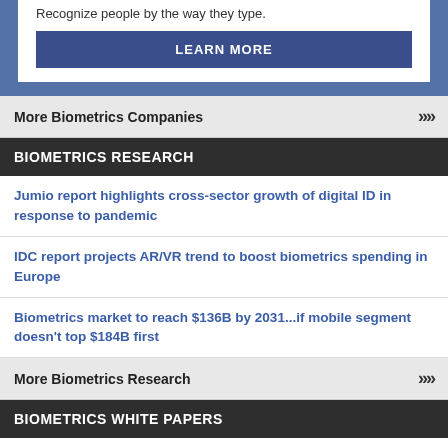Recognize people by the way they type.
LEARN MORE
More Biometrics Companies >>>
BIOMETRICS RESEARCH
Jumio report highlights cross-sector growth of digital ID in response to pandemic
IDC report projects AR/VR trend to boost biometrics spending in Europe
Biometrics market to reach $136B by 2031...if mobile segment doesn't top $184B first
More Biometrics Research >>>
BIOMETRICS WHITE PAPERS
Important things to consider before choosing a multi-fingerprint scanner